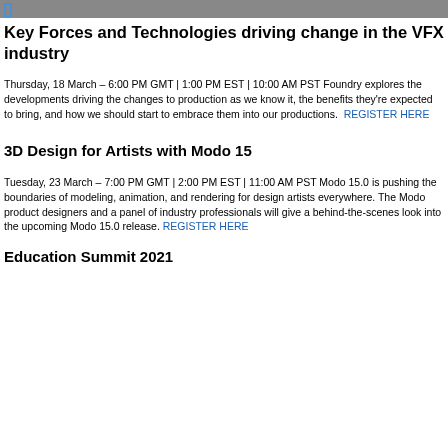Key Forces and Technologies driving change in the VFX industry
Thursday, 18 March – 6:00 PM GMT | 1:00 PM EST | 10:00 AM PST Foundry explores the developments driving the changes to production as we know it, the benefits they're expected to bring, and how we should start to embrace them into our productions. REGISTER HERE
3D Design for Artists with Modo 15
Tuesday, 23 March – 7:00 PM GMT | 2:00 PM EST | 11:00 AM PST Modo 15.0 is pushing the boundaries of modeling, animation, and rendering for design artists everywhere. The Modo product designers and a panel of industry professionals will give a behind-the-scenes look into the upcoming Modo 15.0 release. REGISTER HERE
Education Summit 2021